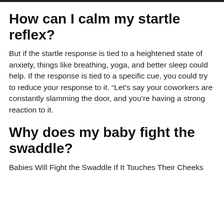How can I calm my startle reflex?
But if the startle response is tied to a heightened state of anxiety, things like breathing, yoga, and better sleep could help. If the response is tied to a specific cue, you could try to reduce your response to it. “Let’s say your coworkers are constantly slamming the door, and you’re having a strong reaction to it.
Why does my baby fight the swaddle?
Babies Will Fight the Swaddle If It Touches Their Cheeks